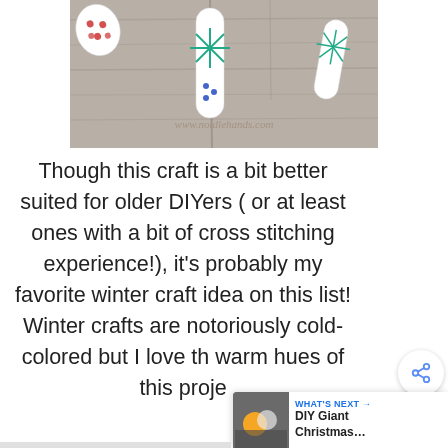[Figure (photo): Photo of cross-stitch Christmas ornament crafts made from popsicle sticks on a wooden background, with watermark text 'www.noidlehands.com']
Though this craft is a bit better suited for older DIYers ( or at least ones with a bit of cross stitching experience!), it's probably my favorite winter craft idea on this list! Winter crafts are notoriously cold-colored but I love the warm hues of this proje…